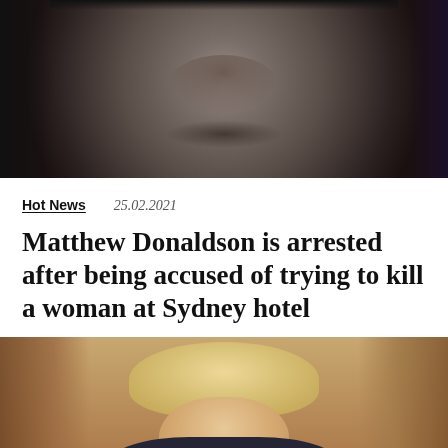[Figure (photo): Close-up photo of a man's face, dark background, looking directly at camera]
Hot News   25.02.2021
Matthew Donaldson is arrested after being accused of trying to kill a woman at Sydney hotel
[Figure (photo): Photo of a blonde person in a dark suit standing in front of ornate wall paneling]